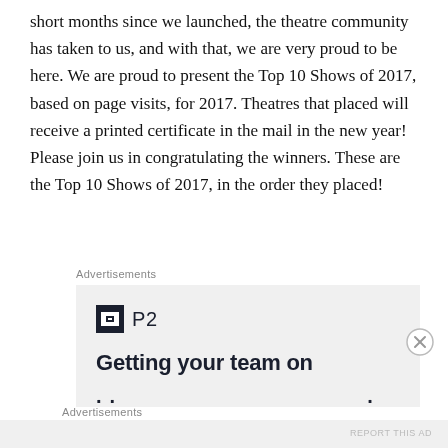short months since we launched, the theatre community has taken to us, and with that, we are very proud to be here. We are proud to present the Top 10 Shows of 2017, based on page visits, for 2017. Theatres that placed will receive a printed certificate in the mail in the new year! Please join us in congratulating the winners. These are the Top 10 Shows of 2017, in the order they placed!
Advertisements
[Figure (other): Advertisement banner featuring P2 logo and text 'Getting your team on' with dots below]
Advertisements